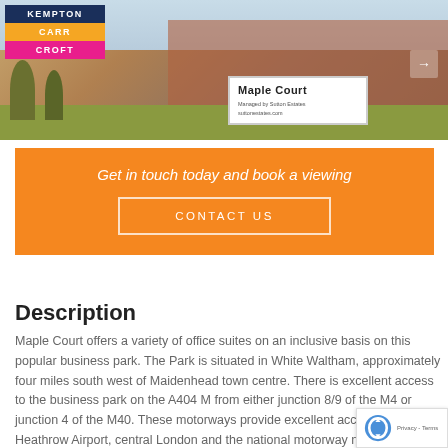[Figure (photo): Exterior photo of Maple Court business park building with sign in foreground reading 'Maple Court, Managed by Sutton Estates, suttonestates.com']
Get in touch today and book a viewing
CONTACT US
Description
Maple Court offers a variety of office suites on an inclusive basis on this popular business park. The Park is situated in White Waltham, approximately four miles south west of Maidenhead town centre. There is excellent access to the business park on the A404 M from either junction 8/9 of the M4 or junction 4 of the M40. These motorways provide excellent access to Heathrow Airport, central London and the national motorway network via the M25. Suite 12 is on the first floor